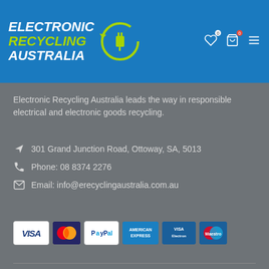[Figure (logo): Electronic Recycling Australia logo — white bold italic text with green accent on blue background, with circular green recycling/plug symbol]
Electronic Recycling Australia leads the way in responsible electrical and electronic goods recycling.
301 Grand Junction Road, Ottoway, SA, 5013
Phone: 08 8374 2276
Email: info@erecyclingaustralia.com.au
[Figure (other): Payment method icons: Visa, Mastercard, PayPal, American Express, Visa Electron, Maestro]
© 2022 - Electronic Recycling Australia
[Figure (logo): Three AM agency logo in grey]